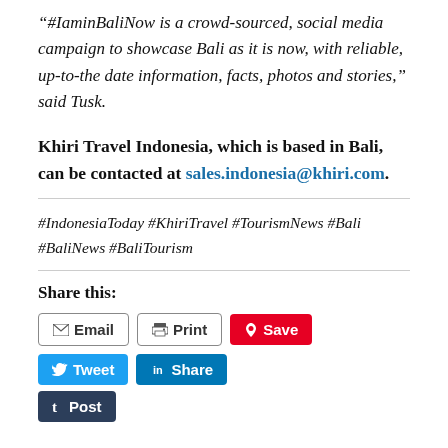“#IaminBaliNow is a crowd-sourced, social media campaign to showcase Bali as it is now, with reliable, up-to-the date information, facts, photos and stories,” said Tusk.
Khiri Travel Indonesia, which is based in Bali, can be contacted at sales.indonesia@khiri.com.
#IndonesiaToday #KhiriTravel #TourismNews #Bali #BaliNews #BaliTourism
Share this:
Email  Print  Save  Tweet  Share  Post